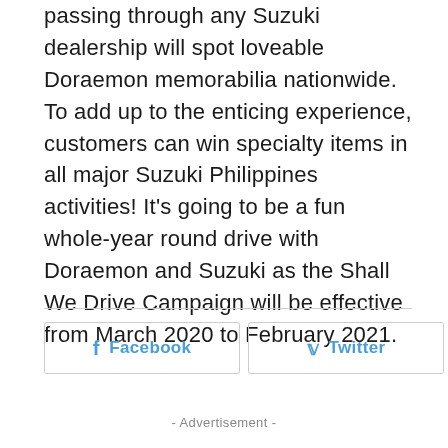passing through any Suzuki dealership will spot loveable Doraemon memorabilia nationwide. To add up to the enticing experience, customers can win specialty items in all major Suzuki Philippines activities! It's going to be a fun whole-year round drive with Doraemon and Suzuki as the Shall We Drive Campaign will be effective from March 2020 to February 2021.
Facebook  Twitter  +
- Advertisement -